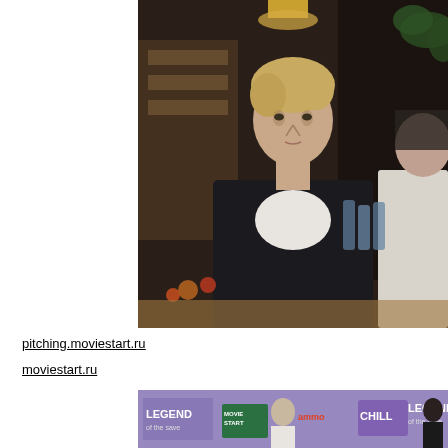[Figure (photo): Photo of a tall blond man in a black blazer over a white t-shirt standing next to a woman in a white blazer, taken indoors at an event with warm ambient lighting and bottles/food visible in the background.]
pitching.moviestart.ru
moviestart.ru
[Figure (photo): Partial photo showing people in front of a purple/lavender branded backdrop with LEGEND, MOVIE START, and CHILL logos/banners.]